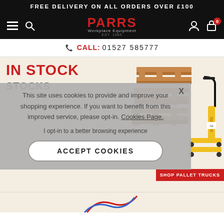FREE DELIVERY ON ALL ORDERS OVER £100
[Figure (logo): PARRS Workplace Equipment logo in red with navigation icons]
CALL: 01527 585777
IN STOCK
[Figure (photo): Stack of wooden pallets and yellow pallet truck]
This site uses cookies to provide and improve your shopping experience. If you want to benefit from this improved service, please opt-in. Cookies Page.
I opt-in to a better browsing experience
ACCEPT COOKIES
SHOP PALLET TRUCKS